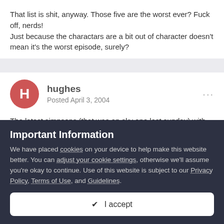That list is shit, anyway. Those five are the worst ever? Fuck off, nerds!
Just because the charactars are a bit out of character doesn't mean it's the worst episode, surely?
hughes
Posted April 3, 2004
The latest simpsons (that was on sky one last sunday) with Homer and Bart doing robot wars was the funniest in a long, long
Important Information
We have placed cookies on your device to help make this website better. You can adjust your cookie settings, otherwise we'll assume you're okay to continue. Use of this website is subject to our Privacy Policy, Terms of Use, and Guidelines.
✔ I accept